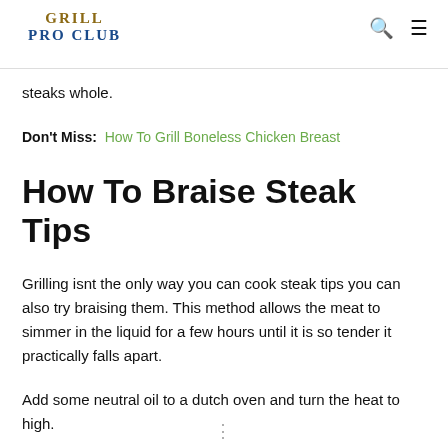GRILL PRO CLUB
steaks whole.
Don't Miss:  How To Grill Boneless Chicken Breast
How To Braise Steak Tips
Grilling isnt the only way you can cook steak tips you can also try braising them. This method allows the meat to simmer in the liquid for a few hours until it is so tender it practically falls apart.
Add some neutral oil to a dutch oven and turn the heat to high.